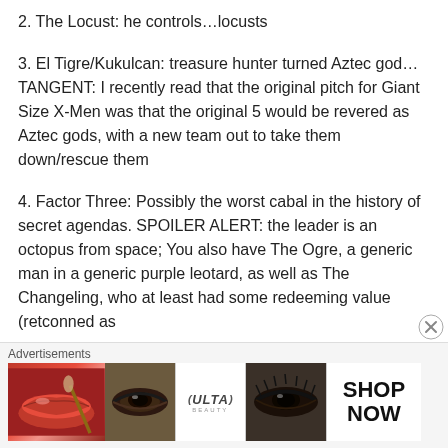2. The Locust: he controls…locusts
3. El Tigre/Kukulcan: treasure hunter turned Aztec god… TANGENT: I recently read that the original pitch for Giant Size X-Men was that the original 5 would be revered as Aztec gods, with a new team out to take them down/rescue them
4. Factor Three: Possibly the worst cabal in the history of secret agendas. SPOILER ALERT: the leader is an octopus from space; You also have The Ogre, a generic man in a generic purple leotard, as well as The Changeling, who at least had some redeeming value (retconned as
Advertisements
[Figure (photo): Ulta Beauty advertisement banner with cosmetics images including lips with red lipstick, makeup brush, eye with dramatic makeup, Ulta logo, another eye with dramatic makeup, and SHOP NOW text]